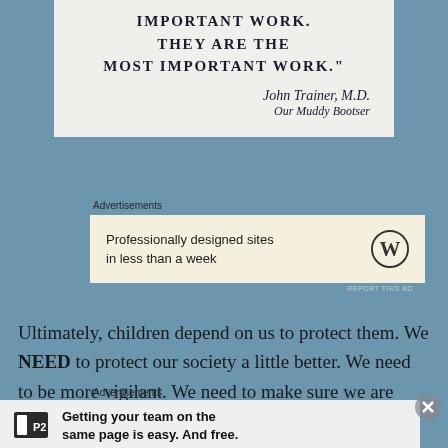[Figure (illustration): Quote box with white/cream background showing text attribution to John Trainer MD]
IMPORTANT WORK. THEY ARE THE MOST IMPORTANT WORK." John Trainer, M.D. Our Muddy Bootser
Advertisements
[Figure (other): WordPress advertisement: Professionally designed sites in less than a week]
Ultimately, children depend on us to protect them. We NEED to protect our society a little better. We need to be more vigilant. We need to make sure we are protecting the future for those that will be our future.
Advertisements
[Figure (other): P2 advertisement: Getting your team on the same page is easy. And free.]